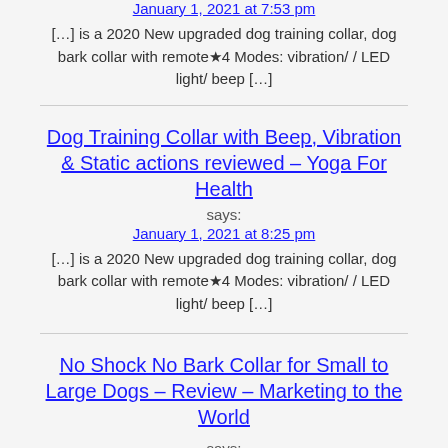January 1, 2021 at 7:53 pm
[…] is a 2020 New upgraded dog training collar, dog bark collar with remote★4 Modes: vibration/ / LED light/ beep […]
Dog Training Collar with Beep, Vibration & Static actions reviewed – Yoga For Health
says:
January 1, 2021 at 8:25 pm
[…] is a 2020 New upgraded dog training collar, dog bark collar with remote★4 Modes: vibration/ / LED light/ beep […]
No Shock No Bark Collar for Small to Large Dogs – Review – Marketing to the World says: